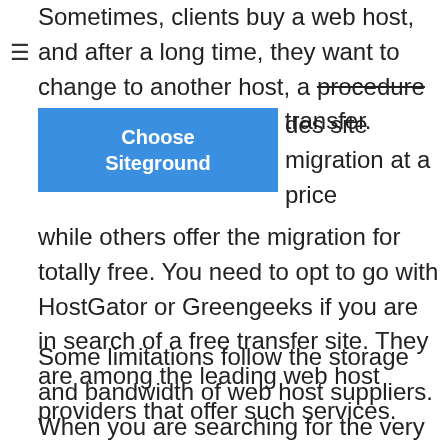Sometimes, clients buy a web host, and after a long time, they want to change to another host, a procedure understood as website transfer. Some provides site migration at a price while others offer the migration for totally free. You need to opt to go with HostGator or Greengeeks if you are in search of a free transfer site. They are among the leading web host providers that offer such services.
[Figure (other): Blue button with white bold text reading 'Choose Siteground']
.
Some limitations follow the storage and bandwidth of web host suppliers. When you are searching for the very best web host with unmetered storage or bandwidth, you can look